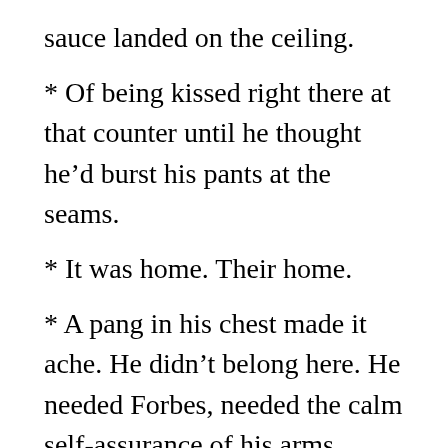sauce landed on the ceiling.
* Of being kissed right there at that counter until he thought he’d burst his pants at the seams.
* It was home. Their home.
* A pang in his chest made it ache. He didn’t belong here. He needed Forbes, needed the calm self-assurance of his arms around him, not this hesitant kid. Oliver